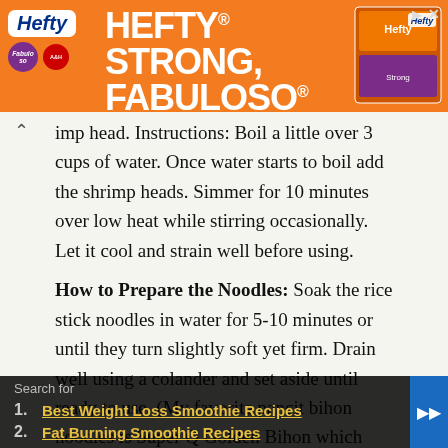[Figure (illustration): Hefty brand advertisement banner with orange background, Hefty and Fabuloso logos, headline 'HEFTY STRONG, FABULOSO FRESH', and product image]
imp head. Instructions: Boil a little over 3 cups of water. Once water starts to boil add the shrimp heads. Simmer for 10 minutes over low heat while stirring occasionally. Let it cool and strain well before using.
How to Prepare the Noodles: Soak the rice stick noodles in water for 5-10 minutes or until they turn slightly soft yet firm. Drain well using a colander and set aside until ready to use. (My favorite pancit bihon noodles is Super Q Golden Bihon which you can easily find in most grocery stores and supermarkets.)
[Figure (screenshot): Bottom ad overlay with dark background showing 'Search for' label and two sponsored links: 1. Best Weight Loss Smoothie Recipes, 2. Fat Burning Smoothie Recipes]